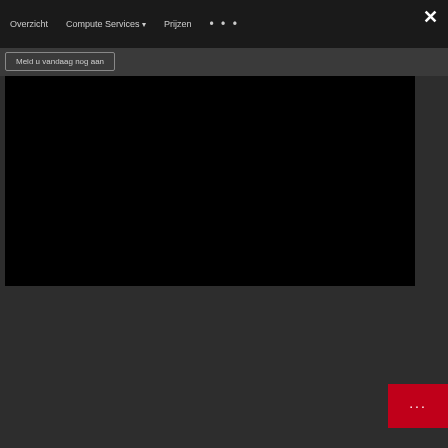Overzicht   Compute Services ▾   Prijzen   • • •
Meld u vandaag nog aan
[Figure (screenshot): Black video player area embedded in the page]
Explore the benefits of Oracle Cloud VMware Solu
Oracle Cloud VMware Solution is a tool that enables